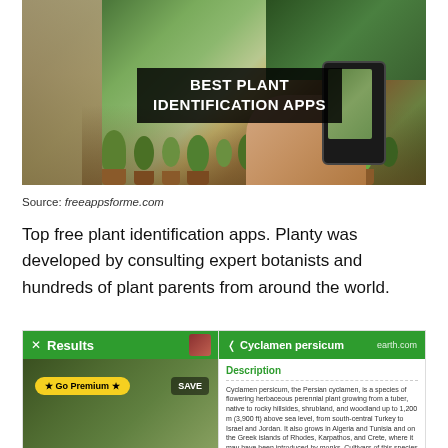[Figure (photo): Person holding a smartphone photographing a collection of cactus plants in pots, with text overlay reading 'Best plant identification apps']
Source: freeappsforme.com
Top free plant identification apps. Planty was developed by consulting expert botanists and hundreds of plant parents from around the world.
[Figure (screenshot): App screenshot split into two panels: left shows Results panel with green header, plant photo, Go Premium button and SAVE button; right shows Cyclamen persicum panel with description text from earth.com]